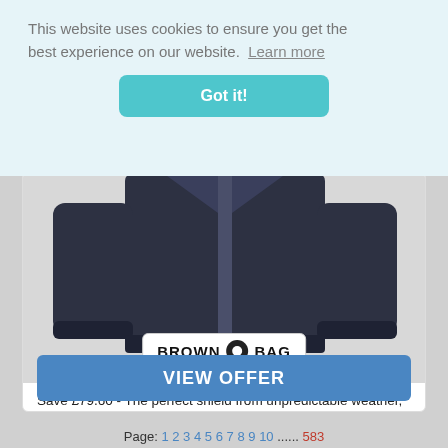This website uses cookies to ensure you get the best experience on our website. Learn more
Got it!
[Figure (photo): Dark navy jacket product photo with Brown Bag logo overlay]
Save £79.60 - The perfect shield from unpredictable weather, the Endurance Waterproof Jacket from Barbour International is as stylish as it is practical thanks to its waterproof
VIEW OFFER
Page: 1 2 3 4 5 6 7 8 9 10 ...... 583